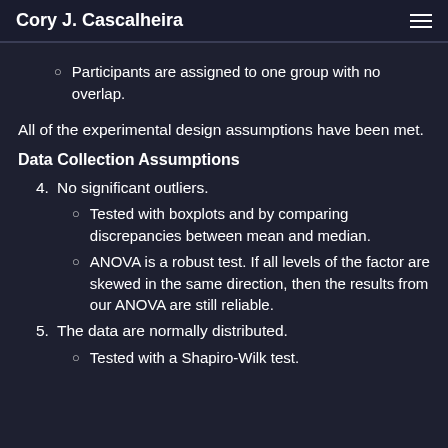Cory J. Cascalheira
Participants are assigned to one group with no overlap.
All of the experimental design assumptions have been met.
Data Collection Assumptions
4. No significant outliers.
Tested with boxplots and by comparing discrepancies between mean and median.
ANOVA is a robust test. If all levels of the factor are skewed in the same direction, then the results from our ANOVA are still reliable.
5. The data are normally distributed.
Tested with a Shapiro-Wilk test.